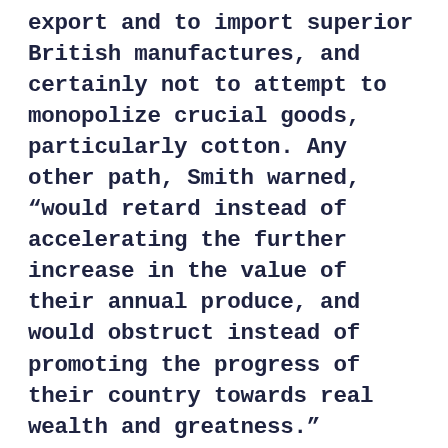export and to import superior British manufactures, and certainly not to attempt to monopolize crucial goods, particularly cotton. Any other path, Smith warned, “would retard instead of accelerating the further increase in the value of their annual produce, and would obstruct instead of promoting the progress of their country towards real wealth and greatness.”
Having gained their independence, the colonies were free to ignore his advice and to follow England’s course of